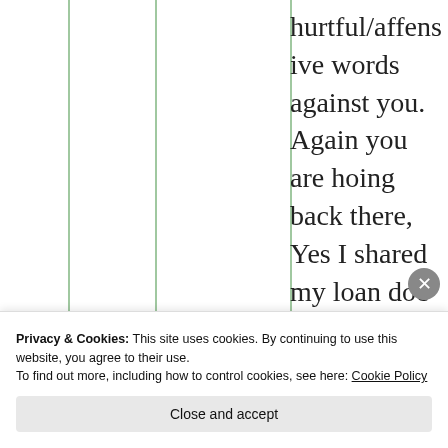hurtful/affensive words against you. Again you are hoing back there, Yes I shared my loan doc proof to give you money as you asked. Need was your's but I became bigger availing top up personal loan n landed into long term financial trouble. You will
Privacy & Cookies: This site uses cookies. By continuing to use this website, you agree to their use.
To find out more, including how to control cookies, see here: Cookie Policy